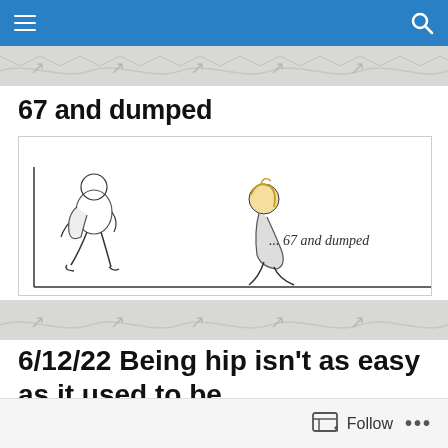Navigation bar with menu and search icons
67 and dumped
[Figure (illustration): A hand-drawn cartoon illustration showing two figures: one walking away (left side) and one sitting on the ground dejected (right side), with handwritten text '... 67 and dumped' on the right side. The illustration is inside a rectangular border.]
6/12/22 Being hip isn't as easy as it used to be
Follow  •••